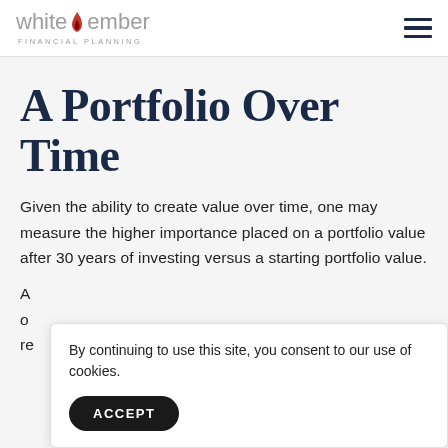white ember FINANCIAL PLANNING
A Portfolio Over Time
Given the ability to create value over time, one may measure the higher importance placed on a portfolio value after 30 years of investing versus a starting portfolio value.
By continuing to use this site, you consent to our use of cookies.